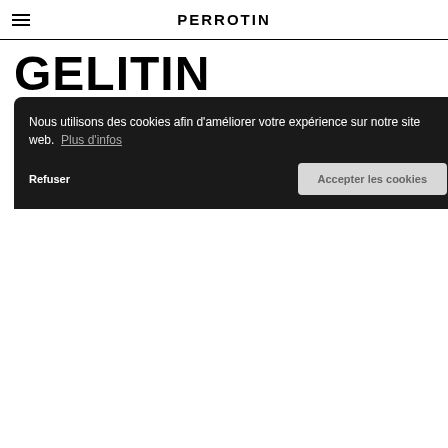PERROTIN
GELITIN
NEWS | IMAGES | BIOGRAPHIE | STORE | PRESSE | TEXTES | SHOWS
CONTACT   PARTAGER
10 MARS 2022 - 3 JANVIER 2023
+ AJOUTER À MON CALENDRIER | PARTAGER
PLUS D'INFOS   EN COURS
Nous utilisons des cookies afin d'améliorer votre expérience sur notre site web. Plus d'infos
Refuser   Accepter les cookies